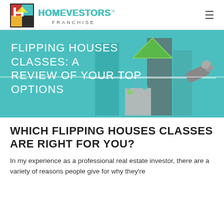HomeVestors Franchise
FLIPPING HOUSES CLASSES: A REVIEW OF YOUR TOP OPTIONS
[Figure (illustration): Illustrated house with teal and dark teal vertical panels forming walls, green triangle roof, small decorative circles (teal and green), and a gray cylindrical object to the right suggesting a flashlight or camera, on a teal background.]
WHICH FLIPPING HOUSES CLASSES ARE RIGHT FOR YOU?
In my experience as a professional real estate investor, there are a variety of reasons people give for why they're